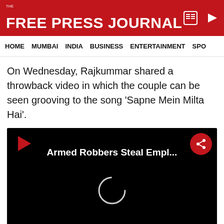THE FREE PRESS JOURNAL
HOME  MUMBAI  INDIA  BUSINESS  ENTERTAINMENT  SPO
On Wednesday, Rajkummar shared a throwback video in which the couple can be seen grooving to the song 'Sapne Mein Milta Hai'.
[Figure (screenshot): Embedded video player with black background showing title 'Armed Robbers Steal Empl...' with a loading spinner and red play button icon]
ADVERTISEMENT